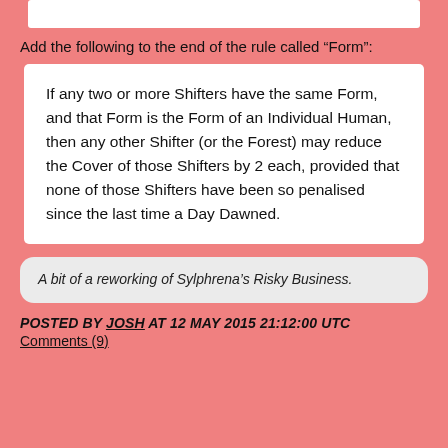Add the following to the end of the rule called “Form”:
If any two or more Shifters have the same Form, and that Form is the Form of an Individual Human, then any other Shifter (or the Forest) may reduce the Cover of those Shifters by 2 each, provided that none of those Shifters have been so penalised since the last time a Day Dawned.
A bit of a reworking of Sylphrena’s Risky Business.
POSTED BY JOSH AT 12 MAY 2015 21:12:00 UTC
Comments (9)